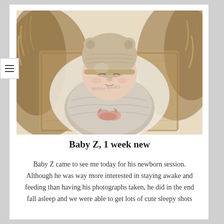[Figure (photo): Newborn baby wrapped in a grey swaddle, wearing a knit bear ear bonnet, sleeping peacefully inside a wooden box lined with fluffy fur, hands clasped together]
Baby Z, 1 week new
Baby Z came to see me today for his newborn session. Although he was way more interested in staying awake and feeding than having his photographs taken, he did in the end fall asleep and we were able to get lots of cute sleepy shots